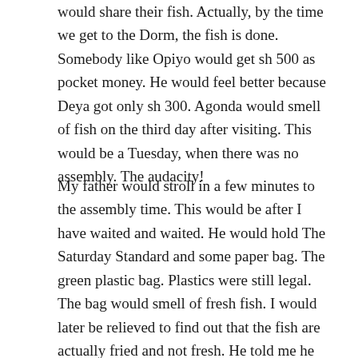would share their fish. Actually, by the time we get to the Dorm, the fish is done. Somebody like Opiyo would get sh 500 as pocket money. He would feel better because Deya got only sh 300. Agonda would smell of fish on the third day after visiting. This would be a Tuesday, when there was no assembly. The audacity!
My father would stroll in a few minutes to the assembly time. This would be after I have waited and waited. He would hold The Saturday Standard and some paper bag. The green plastic bag. Plastics were still legal. The bag would smell of fresh fish. I would later be relieved to find out that the fish are actually fried and not fresh. He told me he had passed by Uhanya. He thinks I dont know it but he was late because he went to see his friend from KNUT. He would soften his eyes apolegetically and say, “Omera bisomo koso itugo?” He asks